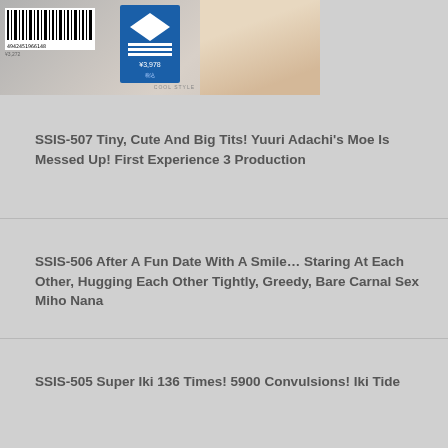[Figure (photo): Product image showing barcode label, price tag, and partial skin-toned background]
SSIS-507 Tiny, Cute And Big Tits! Yuuri Adachi's Moe Is Messed Up! First Experience 3 Production
SSIS-506 After A Fun Date With A Smile… Staring At Each Other, Hugging Each Other Tightly, Greedy, Bare Carnal Sex Miho Nana
SSIS-505 Super Iki 136 Times! 5900 Convulsions! Iki Tide